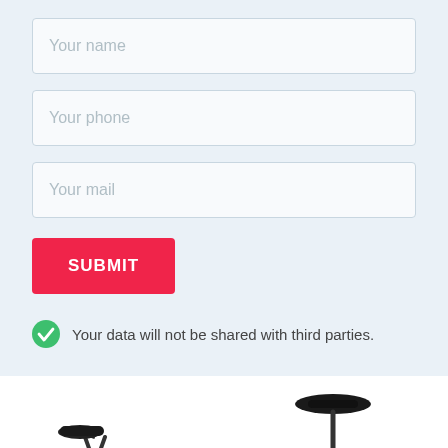Your name
Your phone
Your mail
SUBMIT
Your data will not be shared with third parties.
[Figure (photo): Partial view of a bicycle, showing wheel and saddle components at the bottom of the page]